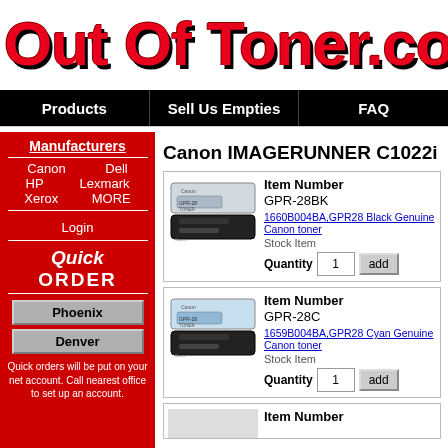Out Of Toner.co
Products | Sell Us Empties | FAQ
Manufacturers
Canon  Dell
HP  Lexmark
Xerox  MORE
Login
Quick ORDER
Phoenix
Denver
Quick orders will be put on your net account. Call nearest office to set up an account.
Canon IMAGERUNNER C1022i
| Item Number |
| --- |
| GPR-28BK |
| 1660B004BA,GPR28 Black Genuine Canon toner |
| Stock Item |
| Quantity: 1 |
| Item Number |
| --- |
| GPR-28C |
| 1659B004BA,GPR28 Cyan Genuine Canon toner |
| Stock Item |
| Quantity: 1 |
| Item Number |
| --- |
|  |